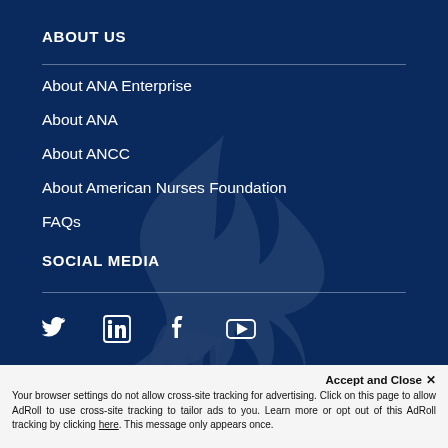ABOUT US
About ANA Enterprise
About ANA
About ANCC
About American Nurses Foundation
FAQs
SOCIAL MEDIA
[Figure (illustration): Social media icons: Twitter bird, LinkedIn in-box, Facebook F, YouTube play button]
Accept and Close ✕
Your browser settings do not allow cross-site tracking for advertising. Click on this page to allow AdRoll to use cross-site tracking to tailor ads to you. Learn more or opt out of this AdRoll tracking by clicking here. This message only appears once.